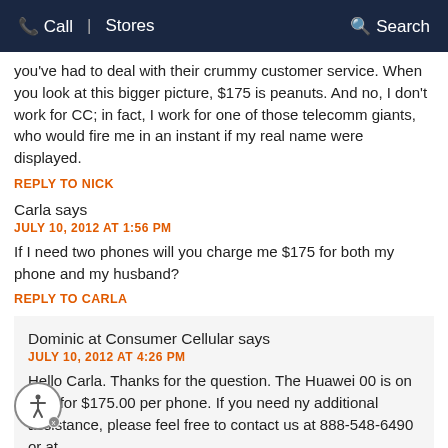Call | Stores    Search
you've had to deal with their crummy customer service. When you look at this bigger picture, $175 is peanuts. And no, I don't work for CC; in fact, I work for one of those telecomm giants, who would fire me in an instant if my real name were displayed.
REPLY TO NICK
Carla says
JULY 10, 2012 AT 1:56 PM
If I need two phones will you charge me $175 for both my phone and my husband?
REPLY TO CARLA
Dominic at Consumer Cellular says
JULY 10, 2012 AT 4:26 PM
Hello Carla. Thanks for the question. The Huawei 00 is on sale for $175.00 per phone. If you need ny additional assistance, please feel free to contact us at 888-548-6490 or at